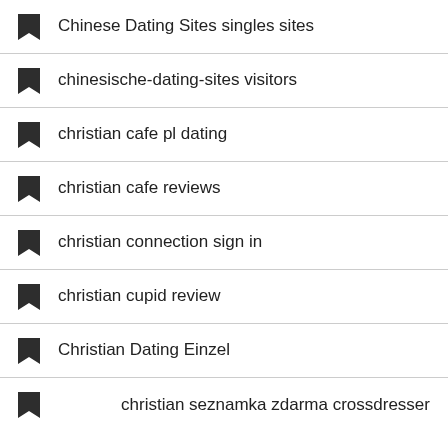Chinese Dating Sites singles sites
chinesische-dating-sites visitors
christian cafe pl dating
christian cafe reviews
christian connection sign in
christian cupid review
Christian Dating Einzel
christian seznamka zdarma crossdresser